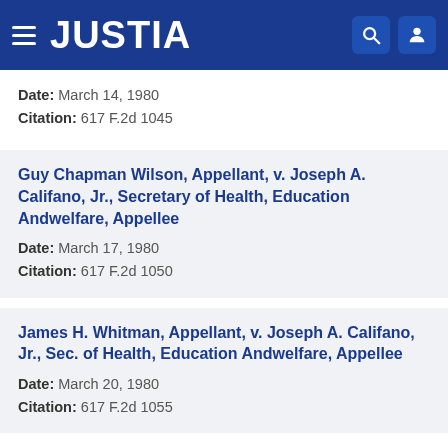JUSTIA
Date: March 14, 1980
Citation: 617 F.2d 1045
Guy Chapman Wilson, Appellant, v. Joseph A. Califano, Jr., Secretary of Health, Education Andwelfare, Appellee
Date: March 17, 1980
Citation: 617 F.2d 1050
James H. Whitman, Appellant, v. Joseph A. Califano, Jr., Sec. of Health, Education Andwelfare, Appellee
Date: March 20, 1980
Citation: 617 F.2d 1055